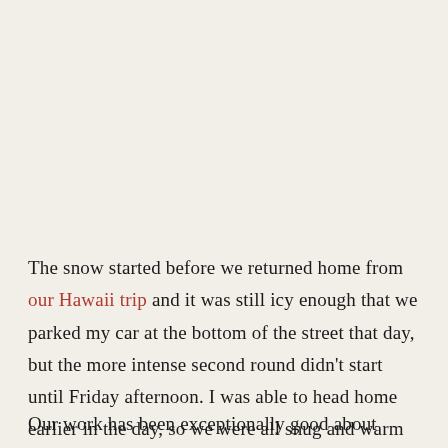The snow started before we returned home from our Hawaii trip and it was still icy enough that we parked my car at the bottom of the street that day, but the more intense second round didn't start until Friday afternoon. I was able to head home earlier in the day, so we were all snug and warm at home before the snow started again.
Our work has been exceptionally good about putting our